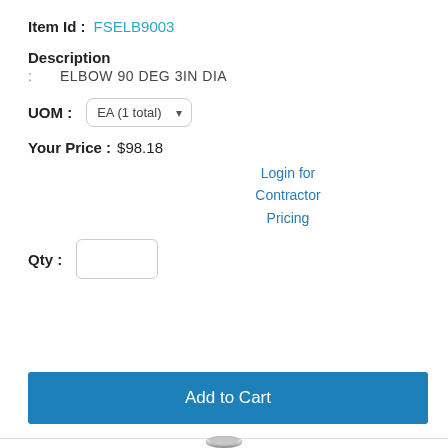Item Id : FSELB9003
Description
: ELBOW 90 DEG 3IN DIA
UOM : EA (1 total)
Your Price : $98.18
Login for Contractor Pricing
Qty :
Add to Cart
[Figure (photo): Product image of a pipe elbow fitting, 90 degree 3-inch diameter metal elbow]